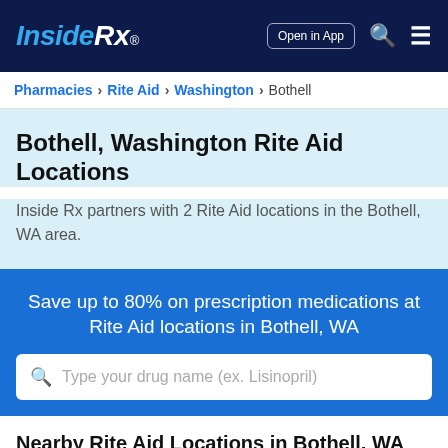Inside Rx® | Open in App
Pharmacies > Rite Aid > Washington > Bothell
Bothell, Washington Rite Aid Locations
Inside Rx partners with 2 Rite Aid locations in the Bothell, WA area.
Save up to 80% on prescription medications at Rite Aid locations in Bothell, WA
Type your drug name (ex. Lisinopril)
Nearby Rite Aid Locations in Bothell, WA